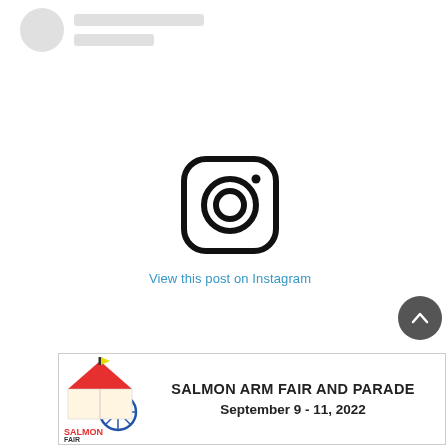[Figure (screenshot): Instagram embed placeholder showing a circular avatar placeholder, two gray text placeholder bars, Instagram camera icon in the center, and a 'View this post on Instagram' link in blue.]
[Figure (logo): Advertisement banner for Salmon Arm Fair and Parade with logo on the left showing a circus tent and fair imagery, text reads 'SALMON ARM FAIR AND PARADE' and 'September 9 - 11, 2022']